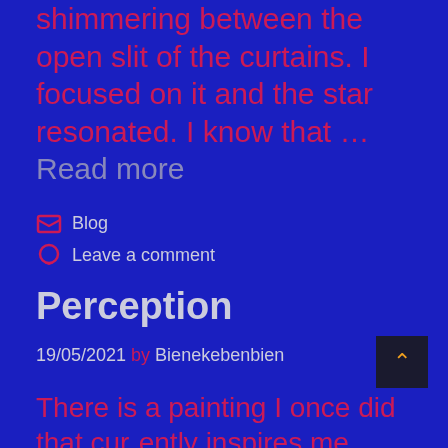shimmering between the open slit of the curtains. I focused on it and the star resonated. I know that … Read more
Blog
Leave a comment
Perception
19/05/2021 by Bienekebenbien
There is a painting I once did that currently inspires me. With lots of perspective and lines that pull towards the center where